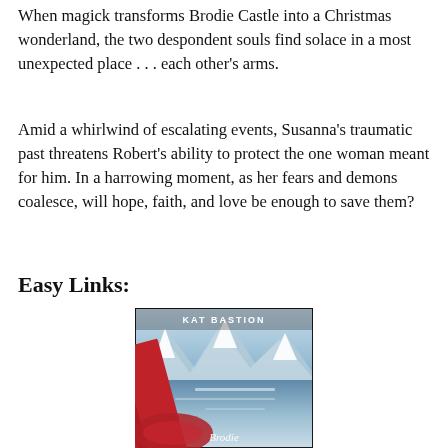When magick transforms Brodie Castle into a Christmas wonderland, the two despondent souls find solace in a most unexpected place . . . each other's arms.
Amid a whirlwind of escalating events, Susanna's traumatic past threatens Robert's ability to protect the one woman meant for him. In a harrowing moment, as her fears and demons coalesce, will hope, faith, and love be enough to save them?
Easy Links:
[Figure (illustration): Book cover for 'Kat Bastion' showing snowy mountains, a lake, and red ribbons with cursive title text at the bottom.]